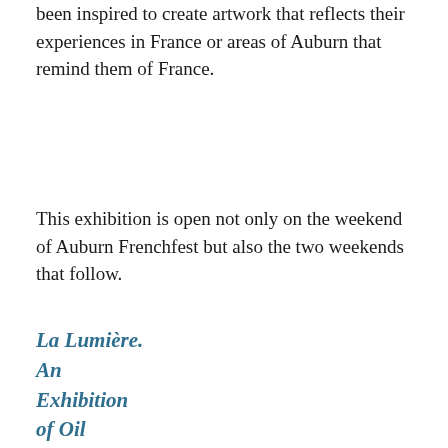been inspired to create artwork that reflects their experiences in France or areas of Auburn that remind them of France.
This exhibition is open not only on the weekend of Auburn Frenchfest but also the two weekends that follow.
La Lumière. An Exhibition of Oil Paintings by